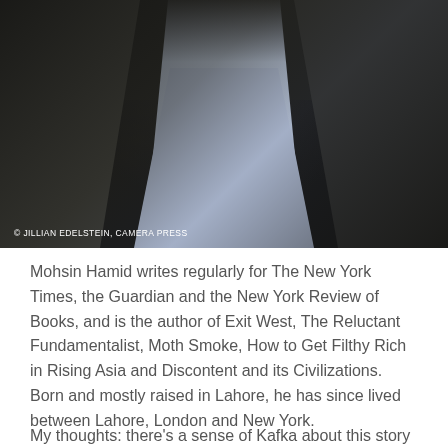[Figure (photo): Close-up photograph of Mohsin Hamid, showing his torso and lower face area, wearing a light blue dress shirt under a dark jacket. Photo credit: © JILLIAN EDELSTEIN, CAMERA PRESS]
© JILLIAN EDELSTEIN, CAMERA PRESS
Mohsin Hamid writes regularly for The New York Times, the Guardian and the New York Review of Books, and is the author of Exit West, The Reluctant Fundamentalist, Moth Smoke, How to Get Filthy Rich in Rising Asia and Discontent and its Civilizations. Born and mostly raised in Lahore, he has since lived between Lahore, London and New York.
My thoughts: there's a sense of Kafka about this story of